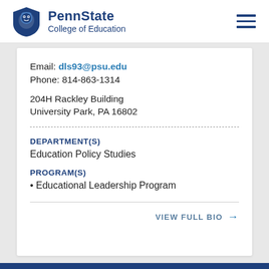PennState College of Education
Email: dls93@psu.edu
Phone: 814-863-1314
204H Rackley Building
University Park, PA 16802
DEPARTMENT(S)
Education Policy Studies
PROGRAM(S)
Educational Leadership Program
VIEW FULL BIO →